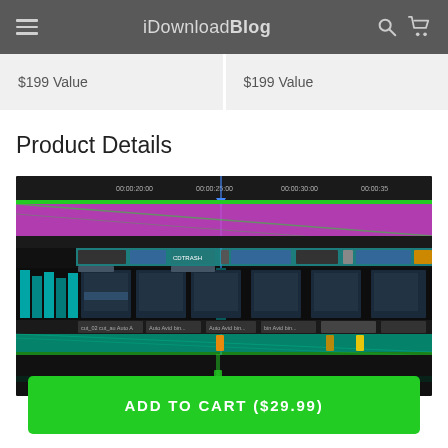iDownloadBlog
$199 Value
$199 Value
Product Details
[Figure (screenshot): Screenshot of a video editing software timeline interface showing multiple tracks with colorful clips (purple, teal, green), thumbnails of video footage, and time markers at 00:00:25:00 and 00:00:30:00.]
ADD TO CART ($29.99)